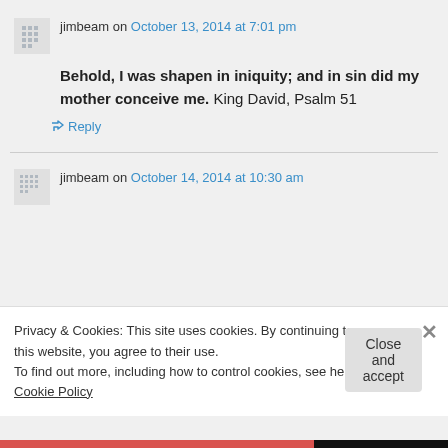jimbeam on October 13, 2014 at 7:01 pm
Behold, I was shapen in iniquity; and in sin did my mother conceive me. King David, Psalm 51
↳ Reply
jimbeam on October 14, 2014 at 10:30 am
Privacy & Cookies: This site uses cookies. By continuing to use this website, you agree to their use.
To find out more, including how to control cookies, see here: Cookie Policy